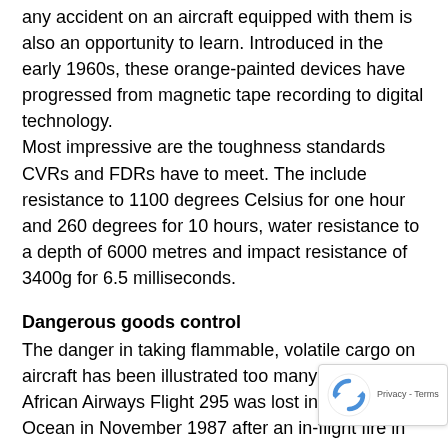any accident on an aircraft equipped with them is also an opportunity to learn. Introduced in the early 1960s, these orange-painted devices have progressed from magnetic tape recording to digital technology. Most impressive are the toughness standards CVRs and FDRs have to meet. The include resistance to 1100 degrees Celsius for one hour and 260 degrees for 10 hours, water resistance to a depth of 6000 metres and impact resistance of 3400g for 6.5 milliseconds.
Dangerous goods control
The danger in taking flammable, volatile cargo on aircraft has been illustrated too many times. South African Airways Flight 295 was lost in the Indian Ocean in November 1987 after an in-flight fire in the cargo hold. The holds of most airliners are now equipped with automated halon fire-extinguishing systems to combat any cargo or baggage fire. In May ValuJet Airlines Flight 592 crashed into the Florida